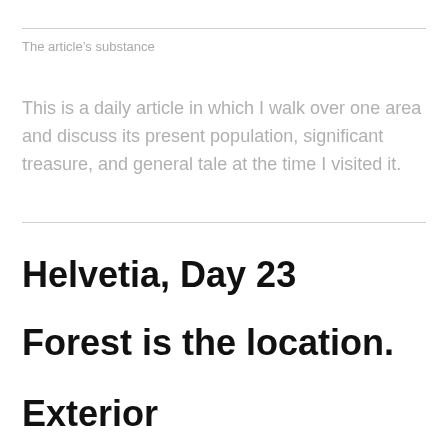The article's substance
This is a daily article in which I walk over one area and discuss its present population, significant treasure, and general tale at the time I visited it.
Helvetia, Day 23
Forest is the location.
Exterior